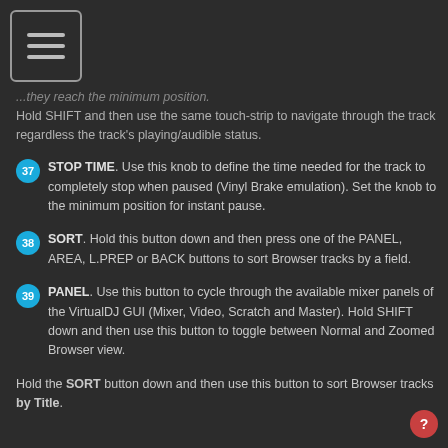[Figure (illustration): Menu/hamburger icon with three horizontal lines inside a rounded rectangle border]
...they reach the minimum position. Hold SHIFT and then use the same touch-strip to navigate through the track regardless the track's playing/audible status.
37 STOP TIME. Use this knob to define the time needed for the track to completely stop when paused (Vinyl Brake emulation). Set the knob to the minimum position for instant pause.
38 SORT. Hold this button down and then press one of the PANEL, AREA, L.PREP or BACK buttons to sort Browser tracks by a field.
39 PANEL. Use this button to cycle through the available mixer panels of the VirtualDJ GUI (Mixer, Video, Scratch and Master). Hold SHIFT down and then use this button to toggle between Normal and Zoomed Browser view.
Hold the SORT button down and then use this button to sort Browser tracks by Title.